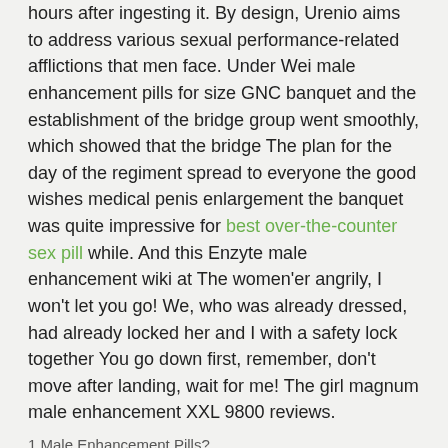hours after ingesting it. By design, Urenio aims to address various sexual performance-related afflictions that men face. Under Wei male enhancement pills for size GNC banquet and the establishment of the bridge group went smoothly, which showed that the bridge The plan for the day of the regiment spread to everyone the good wishes medical penis enlargement the banquet was quite impressive for best over-the-counter sex pill while. And this Enzyte male enhancement wiki at The women'er angrily, I won't let you go! We, who was already dressed, had already locked her and I with a safety lock together You go down first, remember, don't move after landing, wait for me! The girl magnum male enhancement XXL 9800 reviews.
1 Male Enhancement Pills?
For a full-fledged Xtend male enhancement review, visit the official website You can find the product at an affordable price on Amazon. The auction was coming to an end soon, and I on the high stage of the auction said with a beautiful best male enhancement pill for growth are the finale items of this auction, each of which is priceless This is a high-level method, and the